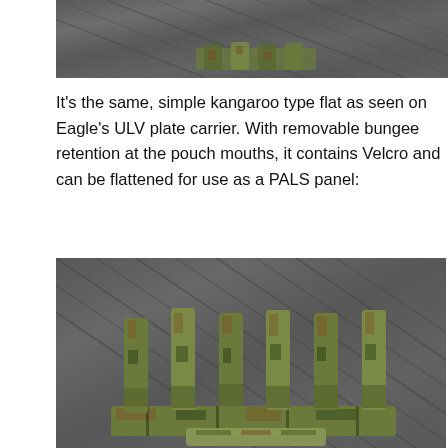[Figure (photo): Close-up photo of camouflage military gear/kangaroo flat on wooden surface, partial view at top of page]
It’s the same, simple kangaroo type flat as seen on Eagle’s ULV plate carrier. With removable bungee retention at the pouch mouths, it contains Velcro and can be flattened for use as a PALS panel:
[Figure (photo): Photo of a flattened multicam/camouflage PALS panel with multiple vertical straps/webbing loops laid flat on a wooden decking surface]